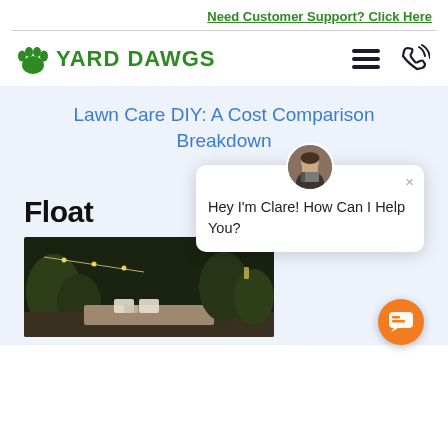Need Customer Support? Click Here
[Figure (logo): Yard Dawgs logo with green paw print and text]
Lawn Care DIY: A Cost Comparison Breakdown
Float…
[Figure (photo): Outdoor garden/patio area at night with string lights, trees, and chairs]
[Figure (screenshot): Chat popup from Clare saying Hey I'm Clare! How Can I Help You? with avatar and close button]